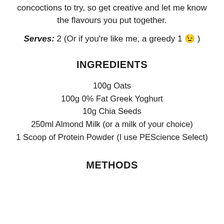concoctions to try, so get creative and let me know the flavours you put together.
Serves: 2 (Or if you're like me, a greedy 1 😉 )
INGREDIENTS
100g Oats
100g 0% Fat Greek Yoghurt
10g Chia Seeds
250ml Almond Milk (or a milk of your choice)
1 Scoop of Protein Powder (I use PEScience Select)
METHODS